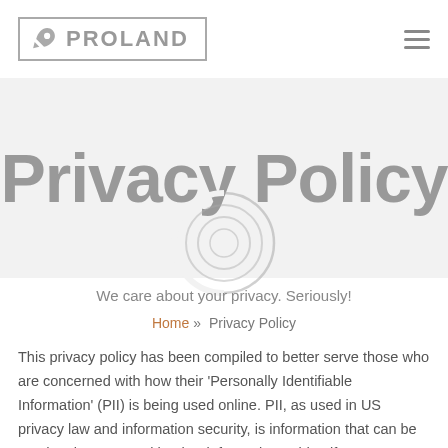PROLAND
Privacy Policy
We care about your privacy. Seriously!
Home » Privacy Policy
This privacy policy has been compiled to better serve those who are concerned with how their 'Personally Identifiable Information' (PII) is being used online. PII, as used in US privacy law and information security, is information that can be used on its own or with other information to identify, contact, or locate a single person, or to identify an individual in context. Please